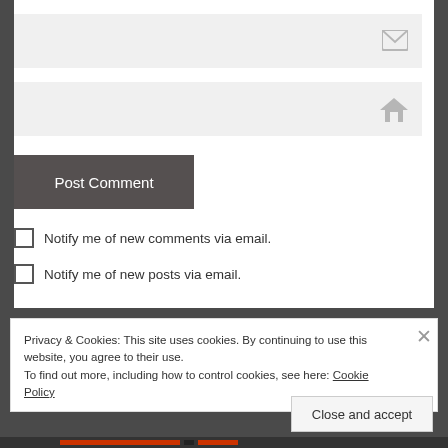[Figure (screenshot): Email input field with envelope icon on the right]
[Figure (screenshot): URL/website input field with home icon on the right]
Post Comment
Notify me of new comments via email.
Notify me of new posts via email.
Privacy & Cookies: This site uses cookies. By continuing to use this website, you agree to their use.
To find out more, including how to control cookies, see here: Cookie Policy
Close and accept